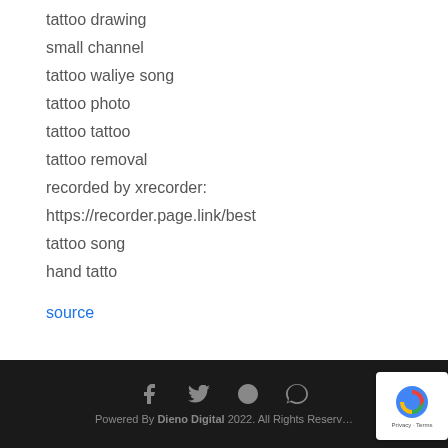tattoo drawing
small channel
tattoo waliye song
tattoo photo
tattoo tattoo
tattoo removal
recorded by xrecorder:
https://recorder.page.link/best
tattoo song
hand tatto
source
Powered By Dieno Digital 2022. All Rights Reserved